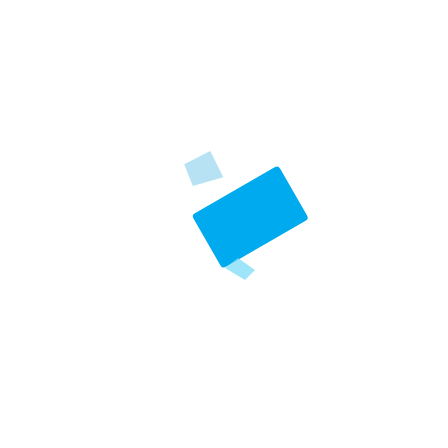[Figure (illustration): A bright blue rotated rectangle (resembling an eraser or highlighter cap) positioned slightly right of center, tilted approximately -30 degrees, with a small light blue triangular shadow or tip at the bottom-left corner of the shape.]